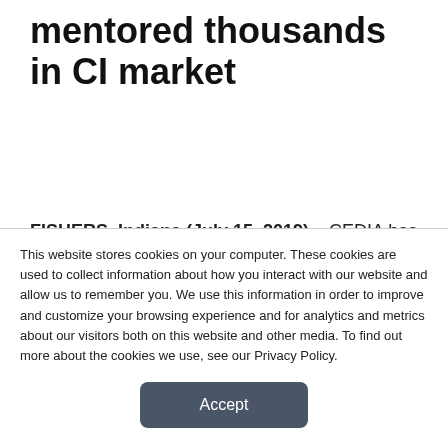...mitchell Klein has guided, mentored thousands in CI market
FISHERS, Indiana (July 15, 2019) – CEDIA has announced that Mitchell Klein has been chosen as this year's Lifetime Achievement Award recipient. Klein will be honored at the CEDIA Expo Opening Keynote hosted at the Colorado Convention Center
This website stores cookies on your computer. These cookies are used to collect information about how you interact with our website and allow us to remember you. We use this information in order to improve and customize your browsing experience and for analytics and metrics about our visitors both on this website and other media. To find out more about the cookies we use, see our Privacy Policy.